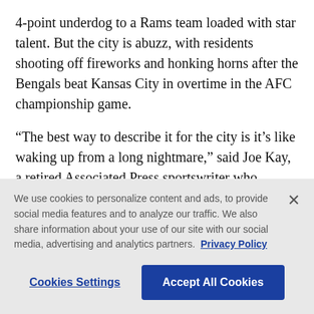4-point underdog to a Rams team loaded with star talent. But the city is abuzz, with residents shooting off fireworks and honking horns after the Bengals beat Kansas City in overtime in the AFC championship game.
“The best way to describe it for the city is it’s like waking up from a long nightmare,” said Joe Kay, a retired Associated Press sportswriter who covered the team through 40 seasons. “It had been more than 30 years since they even won a playoff game.”
We use cookies to personalize content and ads, to provide social media features and to analyze our traffic. We also share information about your use of our site with our social media, advertising and analytics partners. Privacy Policy
Cookies Settings
Accept All Cookies